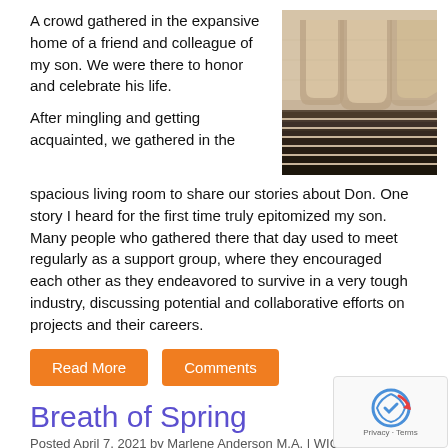A crowd gathered in the expansive home of a friend and colleague of my son. We were there to honor and celebrate his life.
[Figure (photo): Architectural photo of stone steps and arched colonnade in a classical building, warm beige tones]
After mingling and getting acquainted, we gathered in the spacious living room to share our stories about Don. One story I heard for the first time truly epitomized my son. Many people who gathered there that day used to meet regularly as a support group, where they encouraged each other as they endeavored to survive in a very tough industry, discussing potential and collaborative efforts on projects and their careers.
Read More   Comments
Breath of Spring
Posted April 7, 2021 by Marlene Anderson M.A. | WIC, ACC